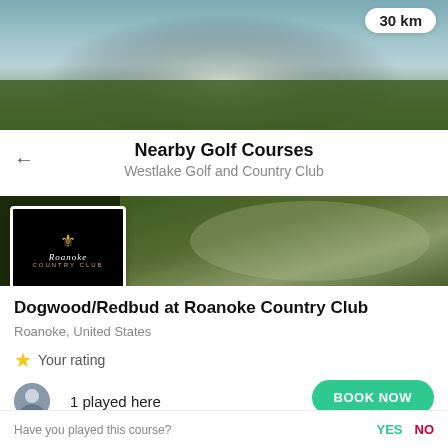[Figure (photo): Blurred golf course green banner image with distance badge showing 30 km]
30 km
Nearby Golf Courses
Westlake Golf and Country Club
[Figure (photo): Golf club banner image with Roanoke Country Club logo on left]
Dogwood/Redbud at Roanoke Country Club
Roanoke, United States
Your rating
1 played here
BOOK NOW
Have you played this course?
YES
NO